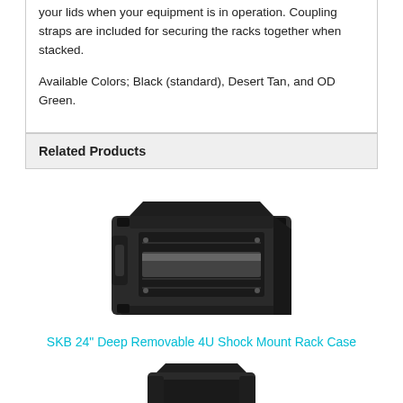your lids when your equipment is in operation. Coupling straps are included for securing the racks together when stacked.
Available Colors; Black (standard), Desert Tan, and OD Green.
Related Products
[Figure (photo): SKB 24 inch Deep Removable 4U Shock Mount Rack Case - dark grey/black hard case with metal rails visible inside]
SKB 24" Deep Removable 4U Shock Mount Rack Case
[Figure (photo): Partial view of another rack case product at bottom of page]